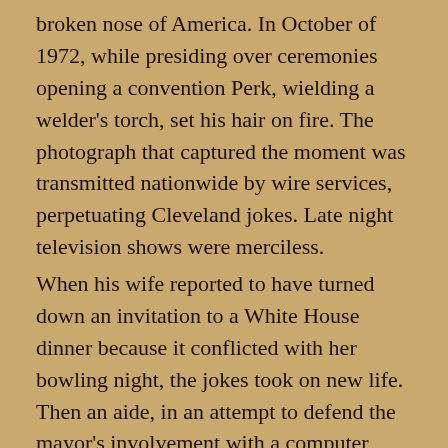broken nose of America. In October of 1972, while presiding over ceremonies opening a convention Perk, wielding a welder's torch, set his hair on fire. The photograph that captured the moment was transmitted nationwide by wire services, perpetuating Cleveland jokes. Late night television shows were merciless.
When his wife reported to have turned down an invitation to a White House dinner because it conflicted with her bowling night, the jokes took on new life. Then an aide, in an attempt to defend the mayor's involvement with a computer company, said that Perk, who had served as county auditor for nearly a decade, did not know the difference between a bond